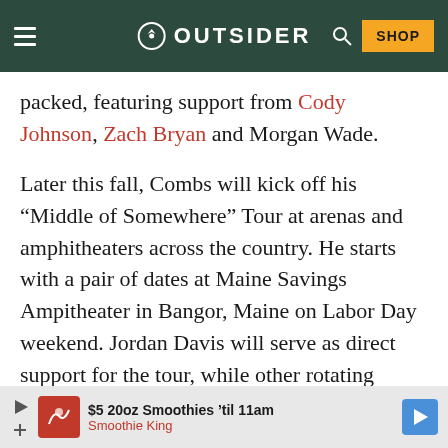OUTSIDER
packed, featuring support from Cody Johnson, Zach Bryan and Morgan Wade.
Later this fall, Combs will kick off his “Middle of Somewhere” Tour at arenas and amphitheaters across the country. He starts with a pair of dates at Maine Savings Ampitheater in Bangor, Maine on Labor Day weekend. Jordan Davis will serve as direct support for the tour, while other rotating openers will include Lainey Wilson, Mitchell
$5 20oz Smoothies ’til 11am  Smoothie King